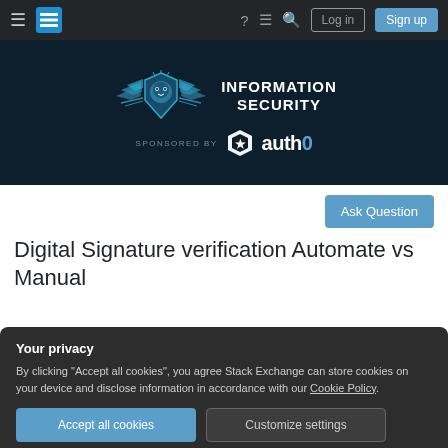Navigation bar with hamburger menu, Stack Exchange logo, help, chat, search icons, Log in and Sign up buttons
[Figure (logo): Information Security Stack Exchange banner with winged lion shield logo, sponsored by Auth0]
Ask Question
Digital Signature verification Automate vs Manual
Your privacy
By clicking "Accept all cookies", you agree Stack Exchange can store cookies on your device and disclose information in accordance with our Cookie Policy.
Accept all cookies
Customize settings
Method of certification.)